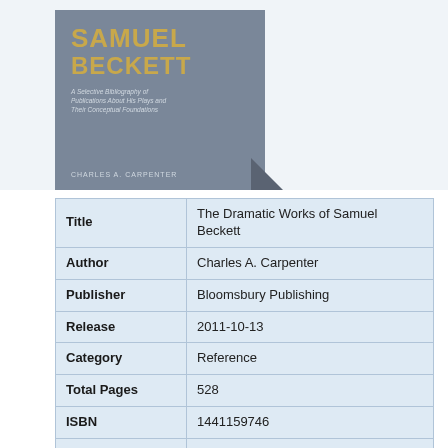[Figure (illustration): Book cover of 'The Dramatic Works of Samuel Beckett: A Selective Bibliography of Publications About His Plays and Their Conceptual Foundations' by Charles A. Carpenter. Gray cover with gold/yellow title text.]
| Title | The Dramatic Works of Samuel Beckett |
| Author | Charles A. Carpenter |
| Publisher | Bloomsbury Publishing |
| Release | 2011-10-13 |
| Category | Reference |
| Total Pages | 528 |
| ISBN | 1441159746 |
| Language | English, Spanish, and French |